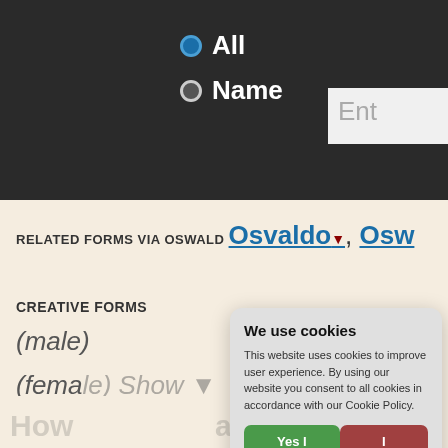[Figure (screenshot): Dark header bar with radio buttons for 'All' (selected, blue) and 'Name', plus a text input box on the right with placeholder 'Ent']
RELATED FORMS VIA OSWALD Osvaldo▼, Osw…
CREATIVE FORMS
(male) Show ▼
(female) Show ▼
MIDDLE NAME PAIRINGS
Osvaldo Bryant (O… More ▼
[Figure (screenshot): Cookie consent popup dialog with title 'We use cookies', body text about cookie policy, 'Yes I agree' green button, 'I disagree' red button, a 'Read more' bar, and 'Free cookie consent by cookie-script.com' footer]
How popular is Osvald?